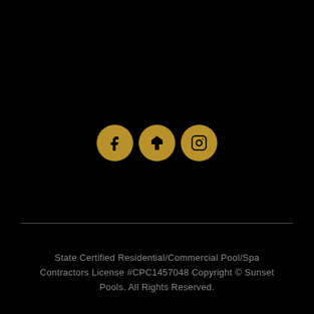[Figure (other): Three gold circular social media icons in a row: Facebook (f), Houzz (h), and Instagram (camera/circle)]
State Certified Residential/Commercial Pool/Spa Contractors License #CPC1457048 Copyright © Sunset Pools. All Rights Reserved.